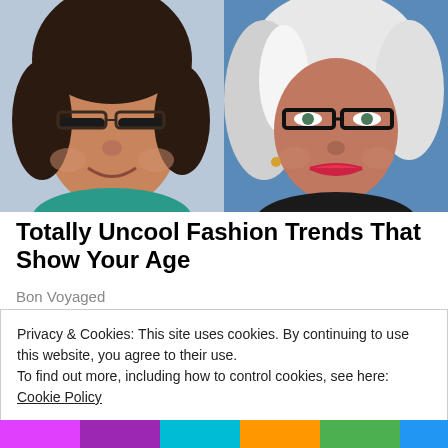[Figure (photo): Two women's portrait photos side by side. Left: woman with dark brown hair and glasses smiling. Right: woman with gray and white hair and dark-rimmed glasses smiling.]
Totally Uncool Fashion Trends That Show Your Age
Bon Voyaged
Privacy & Cookies: This site uses cookies. By continuing to use this website, you agree to their use.
To find out more, including how to control cookies, see here: Cookie Policy
Close and accept
[Figure (photo): Colorful bottom strip with partial images visible.]